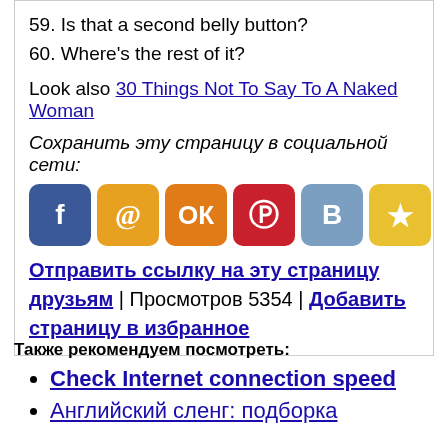59. Is that a second belly button?
60. Where's the rest of it?
Look also 30 Things Not To Say To A Naked Woman
Сохранить эту страницу в социальной сети:
[Figure (other): Social media sharing buttons: Facebook, email, Odnoklassniki, Pinterest, VKontakte, favorites star]
Отправить ссылку на эту страницу друзьям | Просмотров 5354 | Добавить страницу в избранное
Также рекомендуем посмотреть:
Check Internet connection speed
Английский сленг: подборка